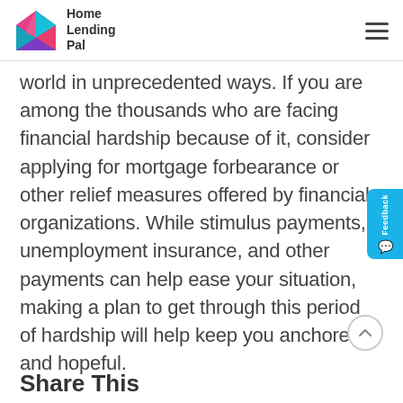Home Lending Pal
world in unprecedented ways. If you are among the thousands who are facing financial hardship because of it, consider applying for mortgage forbearance or other relief measures offered by financial organizations. While stimulus payments, unemployment insurance, and other payments can help ease your situation, making a plan to get through this period of hardship will help keep you anchored and hopeful.
Share This